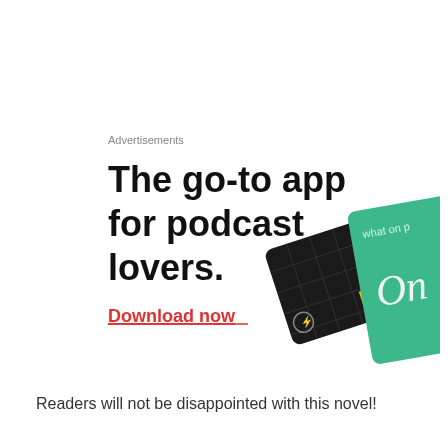Advertisements
[Figure (illustration): Advertisement for a podcast app. Bold black text reads 'The go-to app for podcast lovers.' with a red underlined 'Download now' link, and images of two app cards (a dark card with a yellow square and a teal card with 'On' text) in the upper right.]
Readers will not be disappointed with this novel!
Privacy & Cookies: This site uses cookies. By continuing to use this website, you agree to their use.
To find out more, including how to control cookies, see here: Cookie Policy
Close and accept